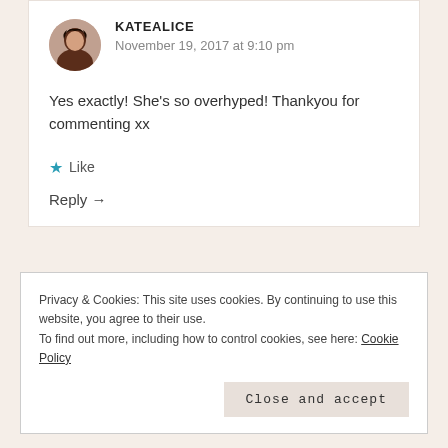[Figure (photo): Circular avatar photo of a woman with dark hair]
KATEALICE
November 19, 2017 at 9:10 pm
Yes exactly! She’s so overhyped! Thankyou for commenting xx
★ Like
Reply →
Privacy & Cookies: This site uses cookies. By continuing to use this website, you agree to their use.
To find out more, including how to control cookies, see here: Cookie Policy
Close and accept